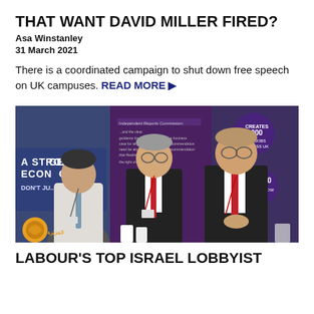THAT WANT DAVID MILLER FIRED?
Asa Winstanley
31 March 2021
There is a coordinated campaign to shut down free speech on UK campuses. READ MORE ▶
[Figure (photo): Three men in suits sitting at a conference event in front of a banner reading 'A STRONGER ECONOMY' with Al Jazeera logo watermark in bottom left.]
LABOUR'S TOP ISRAEL LOBBYIST